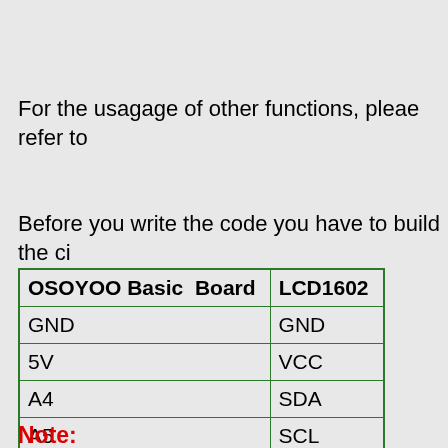For the usagage of other functions, pleae refer to
Before you write the code you have to build the ci
| OSOYOO Basic  Board | LCD1602 |
| --- | --- |
| GND | GND |
| 5V | VCC |
| A4 | SDA |
| A5 | SCL |
Note: